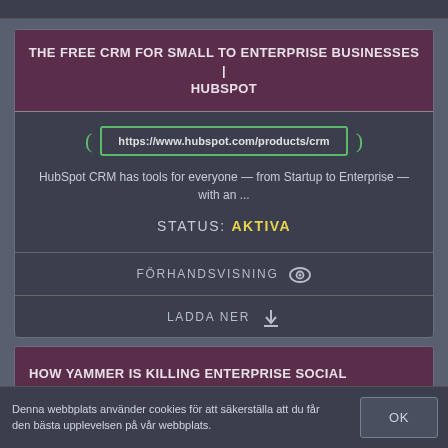THE FREE CRM FOR SMALL TO ENTERPRISE BUSINESSES | HUBSPOT
https://www.hubspot.com/products/crm
HubSpot CRM has tools for everyone — from Startup to Enterprise — with an ...
STATUS: AKTIVA
FÖRHANDSVISNING
LADDA NER
HOW YAMMER IS KILLING ENTERPRISE SOCIAL NETWORKING ...
Denna webbplats använder cookies för att säkerställa att du får den bästa upplevelsen på vår webbplats.